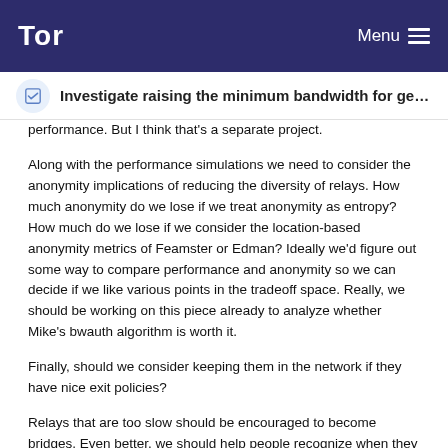Tor | Menu
Investigate raising the minimum bandwidth for getting ...
performance. But I think that's a separate project.
Along with the performance simulations we need to consider the anonymity implications of reducing the diversity of relays. How much anonymity do we lose if we treat anonymity as entropy? How much do we lose if we consider the location-based anonymity metrics of Feamster or Edman? Ideally we'd figure out some way to compare performance and anonymity so we can decide if we like various points in the tradeoff space. Really, we should be working on this piece already to analyze whether Mike's bwauth algorithm is worth it.
Finally, should we consider keeping them in the network if they have nice exit policies?
Relays that are too slow should be encouraged to become bridges. Even better, we should help people recognize when they ought to start out as a bridge rather than trying to be a relay.